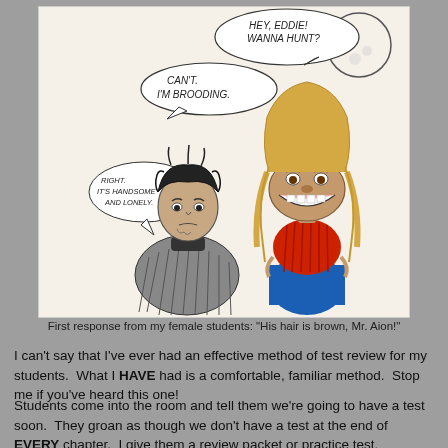[Figure (illustration): Hand-drawn cartoon illustration showing two characters: a brooding dark-haired male figure (Eddie) on the left wearing a dark jacket, and a creature/character with long blonde hair on the right wearing a red top and blue pants. Speech bubbles read: 'HEY, EDDIE! WANNA HUNT?', 'CAN'T. I'M BROODING.', and a smaller bubble that says something like 'RIGHT. IT'S HANDSOME AND LONELY.' A full moon is visible in the upper right. The drawing is on off-white paper.]
First response from my female students: "His hair is brown, Mr. Aion!"
I can't say that I've ever had an effective method of test review for my students.  What I HAVE had is a comfortable, familiar method.  Stop me if you've heard this one!
Students come into the room and tell them we're going to have a test soon.  They groan as though we don't have a test at the end of EVERY chapter.  I give them a review packet or practice test.  Sometimes, I go CRAZY and let them work on it in groups, asking each other and me for help with problems they don't understand.  After a sufficient amount of time has